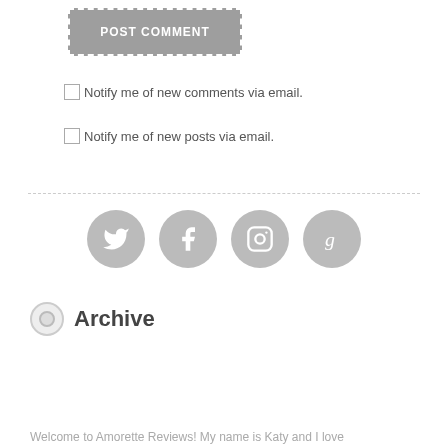POST COMMENT
Notify me of new comments via email.
Notify me of new posts via email.
[Figure (infographic): Four social media icons in grey circles: Twitter, Facebook, Instagram, Goodreads]
Archive
Select Month
Welcome to Amorette Reviews! My name is Katy and I love